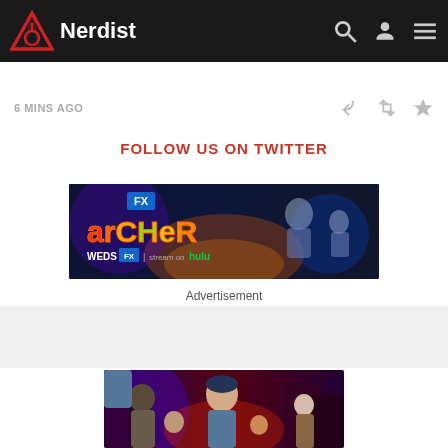Nerdist
6 MINS AGO
FOLLOW US ON TWITTER
[Figure (photo): Archer FX animated show advertisement banner - WEDS FX | stream on hulu]
Advertisement
[Figure (illustration): Animated illustration showing Archer characters in action scene with colorful artwork]